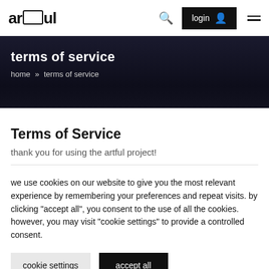artful — login — navigation menu
terms of service
home » terms of service
Terms of Service
thank you for using the artful project!
we use cookies on our website to give you the most relevant experience by remembering your preferences and repeat visits. by clicking "accept all", you consent to the use of all the cookies. however, you may visit "cookie settings" to provide a controlled consent.